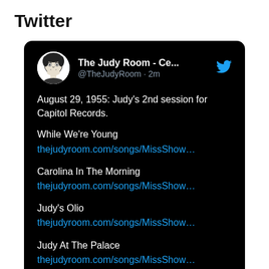Twitter
[Figure (screenshot): A Twitter/X post from @TheJudyRoom account on a black card background. The post reads: August 29, 1955: Judy's 2nd session for Capitol Records. Lists songs: While We're Young, Carolina In The Morning, Judy's Olio, Judy At The Palace, each with a link thejudyroom.com/songs/MissShow... and hashtags #judygarland #capitolrecords]